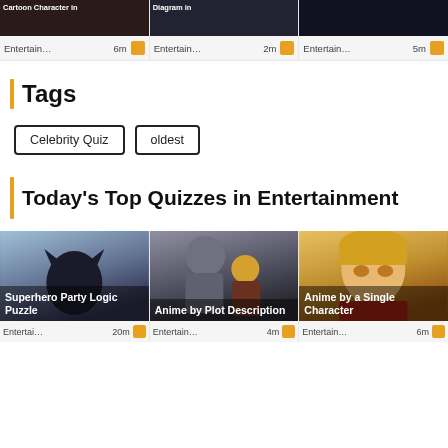[Figure (screenshot): Top row of three quiz cards with dark thumbnail images and metadata showing 'Entertain... 6m', 'Entertain... 2m', 'Entertain... 5m' with orange icons]
Tags
Celebrity Quiz
oldest
Today's Top Quizzes in Entertainment
[Figure (photo): Batman movie still - dark superhero with bat cowl against cloudy sky]
Superhero Party Logic Puzzle
Entertai... 20m
[Figure (photo): Fullmetal Alchemist anime characters - Alphonse (armored) and Edward Elric]
Anime by Plot Description
Entertain... 4m
[Figure (photo): Anime character with blond hair and red outfit - Edward Elric closeup]
Anime by a Single Character
Entertain... 6m